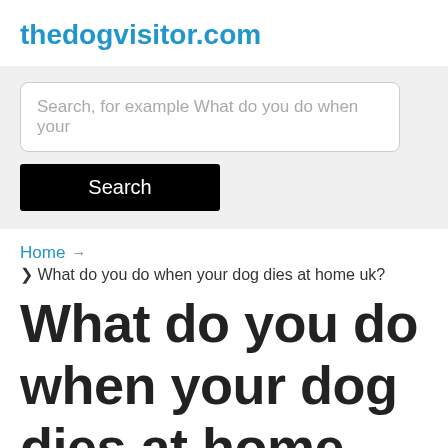thedogvisitor.com
Search, for example What do you do when your
Search
Home → ❯ What do you do when your dog dies at home uk?
What do you do when your dog dies at home uk?